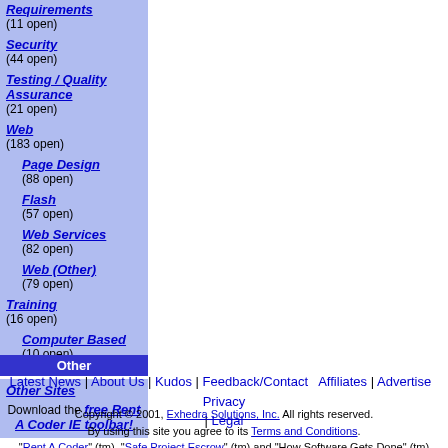Requirements (11 open)
Security (44 open)
Testing / Quality Assurance (21 open)
Web (183 open)
Page Design (88 open)
Flash (57 open)
Web Services (82 open)
Web (Other) (79 open)
Training (16 open)
Computer Based (10 open)
Other
Other Sites
Download the free Rent A Coder IE toolbar!
Latest News | About Us | Kudos | Feedback/Contact | Affiliates | Advertise | Privacy | Legal
Copyright © 2001, Exhedra Solutions, Inc. All rights reserved. By using this site you agree to its Terms and Conditions. "Rent A Coder" (tm), "Safe Project Escrow" (tm) and "How Software Gets Done" (tm) are trademarks of Exhedra Solutions, Inc.